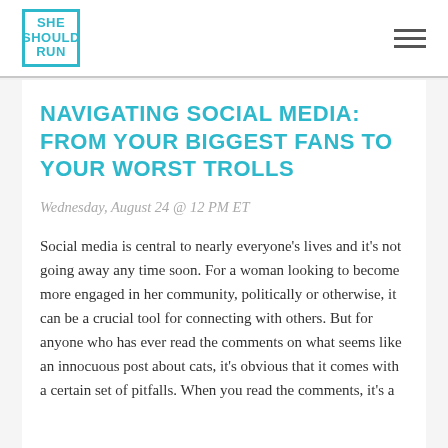SHE SHOULD RUN
NAVIGATING SOCIAL MEDIA: FROM YOUR BIGGEST FANS TO YOUR WORST TROLLS
Wednesday, August 24 @ 12 PM ET
Social media is central to nearly everyone’s lives and it’s not going away any time soon. For a woman looking to become more engaged in her community, politically or otherwise, it can be a crucial tool for connecting with others. But for anyone who has ever read the comments on what seems like an innocuous post about cats, it’s obvious that it comes with a certain set of pitfalls. When you read the comments, it’s a...